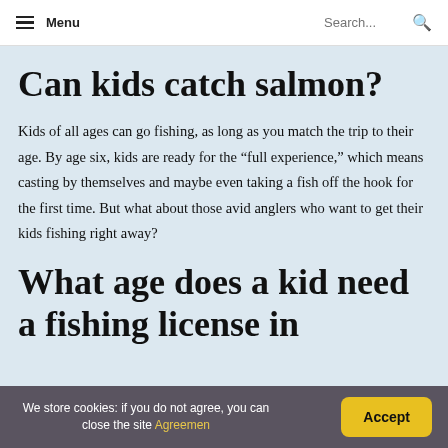Menu  Search...
Can kids catch salmon?
Kids of all ages can go fishing, as long as you match the trip to their age. By age six, kids are ready for the “full experience,” which means casting by themselves and maybe even taking a fish off the hook for the first time. But what about those avid anglers who want to get their kids fishing right away?
What age does a kid need a fishing license in
We store cookies: if you do not agree, you can close the site Agreemen